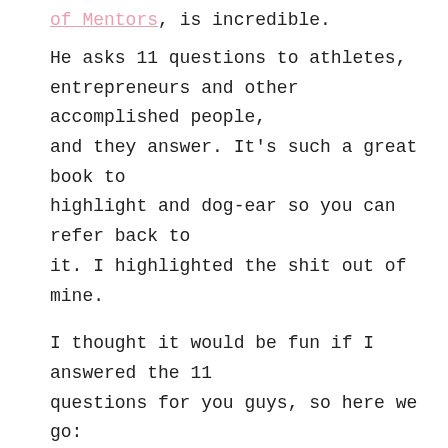of Mentors, is incredible.
He asks 11 questions to athletes, entrepreneurs and other accomplished people, and they answer. It's such a great book to highlight and dog-ear so you can refer back to it. I highlighted the shit out of mine.
I thought it would be fun if I answered the 11 questions for you guys, so here we go:
1.) What is the book (or books) you've given most as a gift, and why? Or what are one to three books that have greatly influenced your life?